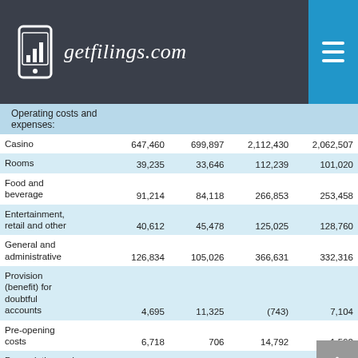getfilings.com
|  |  |  |  |  |
| --- | --- | --- | --- | --- |
| Operating costs and expenses: |  |  |  |  |
| Casino | 647,460 | 699,897 | 2,112,430 | 2,062,507 |
| Rooms | 39,235 | 33,646 | 112,239 | 101,020 |
| Food and beverage | 91,214 | 84,118 | 266,853 | 253,458 |
| Entertainment, retail and other | 40,612 | 45,478 | 125,025 | 128,760 |
| General and administrative | 126,834 | 105,026 | 366,631 | 332,316 |
| Provision (benefit) for doubtful accounts | 4,695 | 11,325 | (743) | 7,104 |
| Pre-opening costs | 6,718 | 706 | 14,792 | 1,592 |
| Depreciation and amortization | 79,027 | 93,325 | 234,037 | 279,061 |
| Property charges |  |  |  |  |